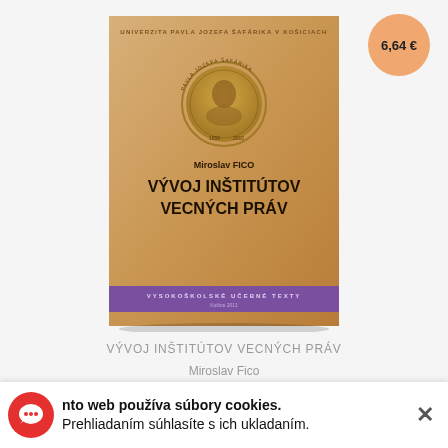6,64 €
[Figure (illustration): Book cover of 'Vývoj Inštitútov Vecných Práv' by Miroslav Fico, published by Univerzita Pavla Jozefa Šafárika v Košiciach. Sandy/golden gradient cover with university seal medallion, author name, bold title, and purple bottom band reading 'Vysokoškolské Učebné Texty'.]
VÝVOJ INŠTITÚTOV VECNÝCH PRÁV
Miroslav Fico
nto web používa súbory cookies. Prehliadaním súhlasíte s ich ukladaním.